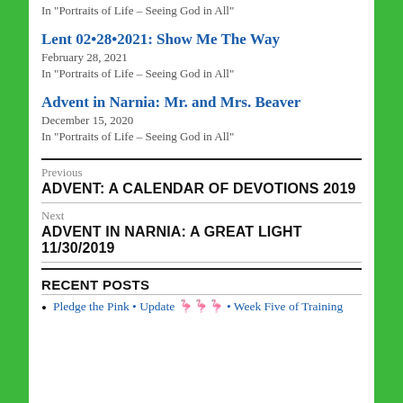In "Portraits of Life – Seeing God in All"
Lent 02•28•2021: Show Me The Way
February 28, 2021
In "Portraits of Life – Seeing God in All"
Advent in Narnia: Mr. and Mrs. Beaver
December 15, 2020
In "Portraits of Life – Seeing God in All"
Previous
ADVENT: A CALENDAR OF DEVOTIONS 2019
Next
ADVENT IN NARNIA: A GREAT LIGHT 11/30/2019
RECENT POSTS
Pledge the Pink • Update 🦩🦩🦩 • Week Five of Training